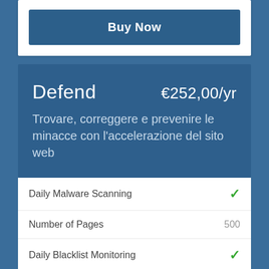Buy Now
Defend   €252,00/yr
Trovare, correggere e prevenire le minacce con l'accelerazione del sito web
Daily Malware Scanning — ✓
Number of Pages — 500
Daily Blacklist Monitoring — ✓
SiteLock Risk Score — ✓
Website Application Scan — Daily
SQL Injection Scan — Daily
Cross Site (XSS) Scan — Daily